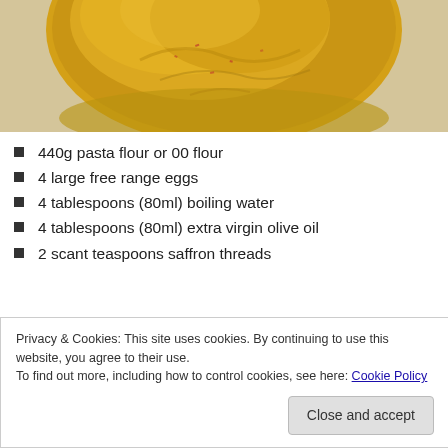[Figure (photo): Photo of a round ball of yellow saffron pasta dough on a light beige surface, viewed from above, showing the top portion of the dough.]
440g pasta flour or 00 flour
4 large free range eggs
4 tablespoons (80ml) boiling water
4 tablespoons (80ml) extra virgin olive oil
2 scant teaspoons saffron threads
Privacy & Cookies: This site uses cookies. By continuing to use this website, you agree to their use.
To find out more, including how to control cookies, see here: Cookie Policy